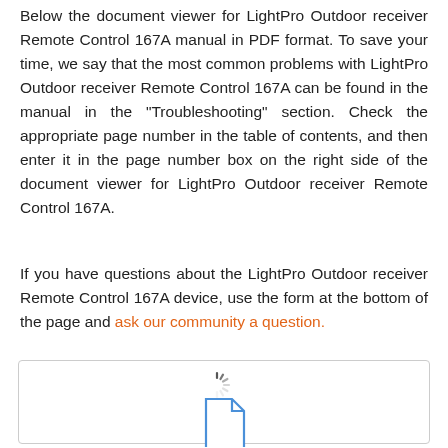Below the document viewer for LightPro Outdoor receiver Remote Control 167A manual in PDF format. To save your time, we say that the most common problems with LightPro Outdoor receiver Remote Control 167A can be found in the manual in the "Troubleshooting" section. Check the appropriate page number in the table of contents, and then enter it in the page number box on the right side of the document viewer for LightPro Outdoor receiver Remote Control 167A.
If you have questions about the LightPro Outdoor receiver Remote Control 167A device, use the form at the bottom of the page and ask our community a question.
[Figure (other): Document viewer loading area with a spinner icon and a document/file icon rendered in blue outline style inside a bordered box.]